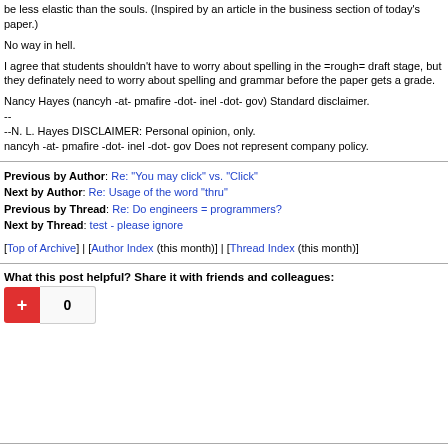be less elastic than the souls. (Inspired by an article in the business section of today's paper.)
No way in hell.
I agree that students shouldn't have to worry about spelling in the =rough= draft stage, but they definately need to worry about spelling and grammar before the paper gets a grade.
Nancy Hayes (nancyh -at- pmafire -dot- inel -dot- gov) Standard disclaimer.
--
--N. L. Hayes DISCLAIMER: Personal opinion, only.
nancyh -at- pmafire -dot- inel -dot- gov Does not represent company policy.
Previous by Author: Re: "You may click" vs. "Click"
Next by Author: Re: Usage of the word "thru"
Previous by Thread: Re: Do engineers = programmers?
Next by Thread: test - please ignore
[Top of Archive] | [Author Index (this month)] | [Thread Index (this month)]
What this post helpful? Share it with friends and colleagues:
[Figure (other): Social share widget with red plus button and count showing 0]